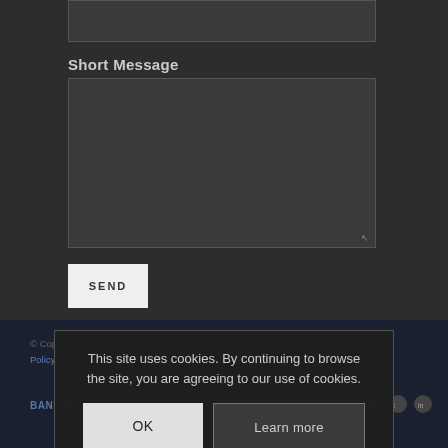Short Message
[Figure (screenshot): A dark-themed web form with a text area for 'Short Message' and a SEND button, with a cookie consent overlay at the bottom showing OK and Learn more buttons.]
This site uses cookies. By continuing to browse the site, you are agreeing to our use of cookies.
BANKING   RETAIL